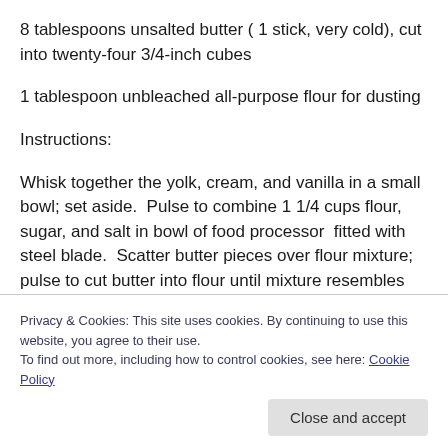8 tablespoons unsalted butter ( 1 stick, very cold), cut into twenty-four 3/4-inch cubes
1 tablespoon unbleached all-purpose flour for dusting
Instructions:
Whisk together the yolk, cream, and vanilla in a small bowl; set aside.  Pulse to combine 1 1/4 cups flour, sugar, and salt in bowl of food processor  fitted with steel blade.  Scatter butter pieces over flour mixture; pulse to cut butter into flour until mixture resembles course meal, about
at least 2 hours.
Privacy & Cookies: This site uses cookies. By continuing to use this website, you agree to their use.
To find out more, including how to control cookies, see here: Cookie Policy